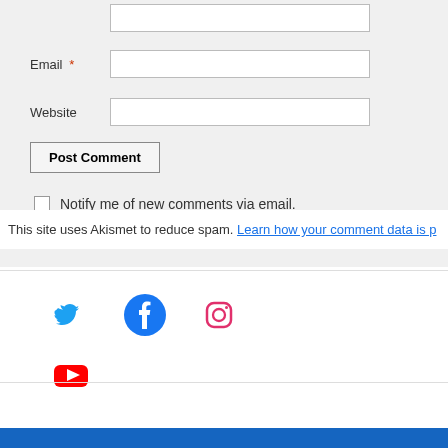Email *
Website
Post Comment
Notify me of new comments via email.
Notify me of new posts via email.
This site uses Akismet to reduce spam. Learn how your comment data is processed.
[Figure (infographic): Social media icons: Twitter (blue bird), Facebook (blue circle with f), Instagram (pink/orange camera outline), YouTube (red rounded rectangle with play button)]